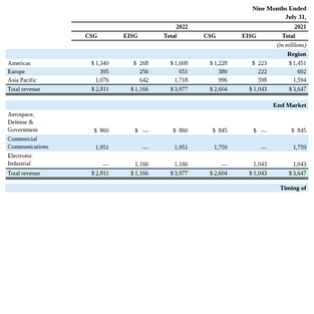Nine Months Ended
July 31,
|  | 2022 CSG | 2022 EISG | 2022 Total | 2021 CSG | 2021 EISG | 2021 Total |
| --- | --- | --- | --- | --- | --- | --- |
| Region |  |  |  |  |  |  |
| Americas | $1,340 | $  268 | $1,608 | $1,228 | $  223 | $1,451 |
| Europe | 395 | 256 | 651 | 380 | 222 | 602 |
| Asia Pacific | 1,076 | 642 | 1,718 | 996 | 598 | 1,594 |
| Total revenue | $2,811 | $1,166 | $3,977 | $2,604 | $1,043 | $3,647 |
| End Market |  |  |  |  |  |  |
| Aerospace, Defense & Government | $  860 | $  — | $  860 | $  845 | $  — | $  845 |
| Commercial Communications | 1,951 | — | 1,951 | 1,759 | — | 1,759 |
| Electronic Industrial | — | 1,166 | 1,166 | — | 1,043 | 1,043 |
| Total revenue | $2,811 | $1,166 | $3,977 | $2,604 | $1,043 | $3,647 |
| Timing of |  |  |  |  |  |  |